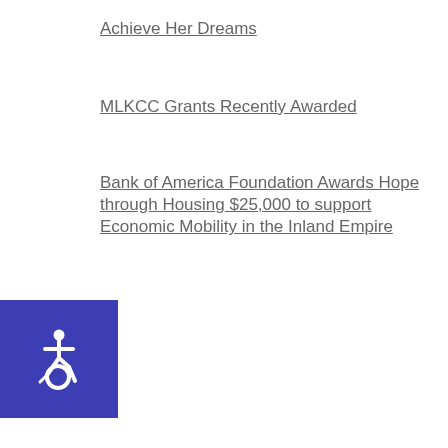Achieve Her Dreams
MLKCC Grants Recently Awarded
Bank of America Foundation Awards Hope through Housing $25,000 to support Economic Mobility in the Inland Empire
[Figure (illustration): Blue square accessibility icon with wheelchair symbol in white]